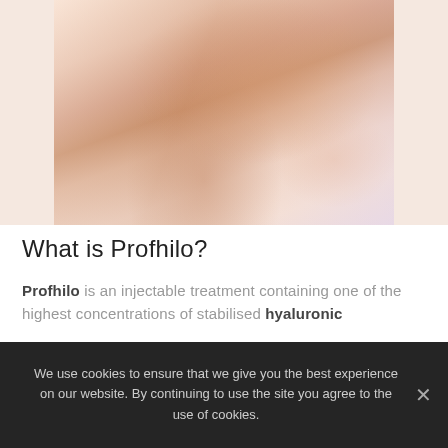[Figure (photo): Close-up photograph of a person's neck or wrist area showing skin, with a soft warm skin-tone background with pinkish/lavender tones.]
What is Profhilo?
Profhilo is an injectable treatment containing one of the highest concentrations of stabilised hyaluronic
We use cookies to ensure that we give you the best experience on our website. By continuing to use the site you agree to the use of cookies.